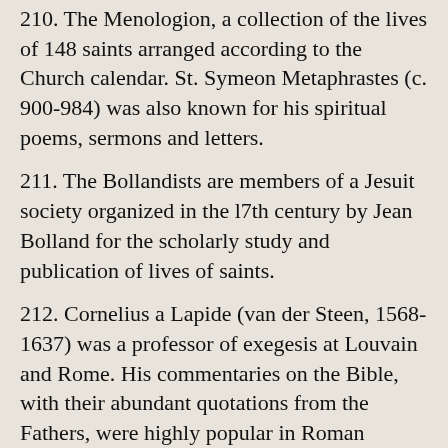210. The Menologion, a collection of the lives of 148 saints arranged according to the Church calendar. St. Symeon Metaphrastes (c. 900-984) was also known for his spiritual poems, sermons and letters.
211. The Bollandists are members of a Jesuit society organized in the l7th century by Jean Bolland for the scholarly study and publication of lives of saints.
212. Cornelius a Lapide (van der Steen, 1568-1637) was a professor of exegesis at Louvain and Rome. His commentaries on the Bible, with their abundant quotations from the Fathers, were highly popular in Roman Catholic theological circles. See T.W. Mossman, The Great Commentary of Cornelius a Lapide (London, 1881).
213. Martin Becan (1563-1624) was a Jesuit theologian and polemist. His chief works were Summa theologiae scholasticae (Mainz, 1612), 4 vol., and Controversia anglicana de potestate regis et pontificis (Mainz, 1612), in which he defended the morality of assassinating a king.
214. See his polemical Inquiry into the schismatic faith in